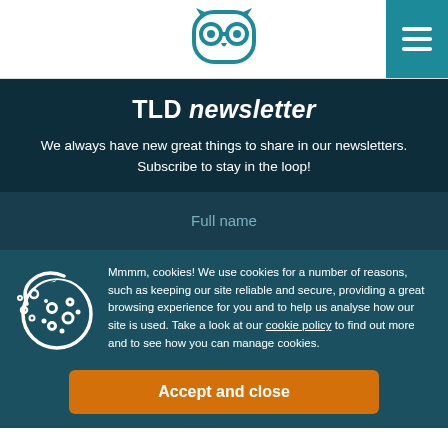[Figure (logo): Owl logo with goggles in teal color, centered in white header bar]
TLD newsletter
We always have new great things to share in our newsletters. Subscribe to stay in the loop!
Full name (input field placeholder)
Mmmm, cookies! We use cookies for a number of reasons, such as keeping our site reliable and secure, providing a great browsing experience for you and to help us analyse how our site is used. Take a look at our cookie policy to find out more and to see how you can manage cookies.
Accept and close